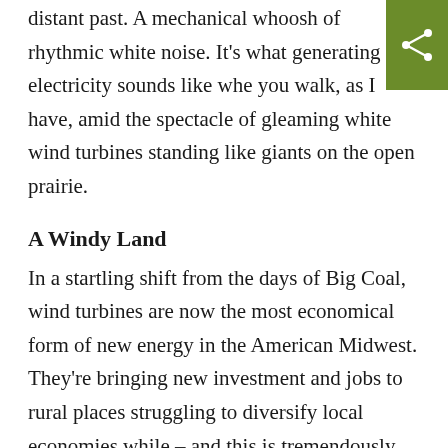distant past. A mechanical whoosh of rhythmic white noise. It's what generating electricity sounds like whe you walk, as I have, amid the spectacle of gleaming white wind turbines standing like giants on the open prairie.
A Windy Land
In a startling shift from the days of Big Coal, wind turbines are now the most economical form of new energy in the American Midwest. They're bringing new investment and jobs to rural places struggling to diversify local economies while – and this is tremendously important – reducing carbon emissions. We need them in today's energy landscape.